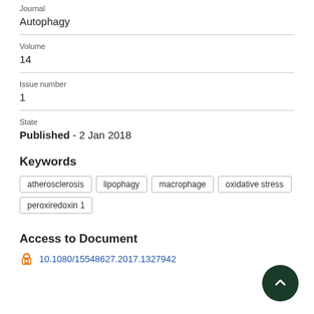Journal
Autophagy
Volume
14
Issue number
1
State
Published - 2 Jan 2018
Keywords
atherosclerosis
lipophagy
macrophage
oxidative stress
peroxiredoxin 1
Access to Document
10.1080/15548627.2017.1327942